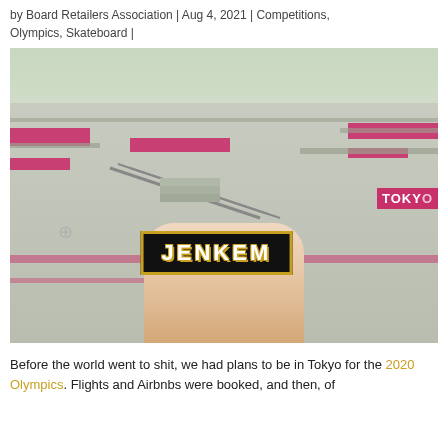by Board Retailers Association | Aug 4, 2021 | Competitions, Olympics, Skateboard |
[Figure (photo): A hand holds a black JENKEM sticker in front of the Tokyo 2020 Olympics skateboarding venue, showing concrete ramps and pink/magenta trim with a TOKYO sign visible.]
Before the world went to shit, we had plans to be in Tokyo for the 2020 Olympics. Flights and Airbnbs were booked, and then, of